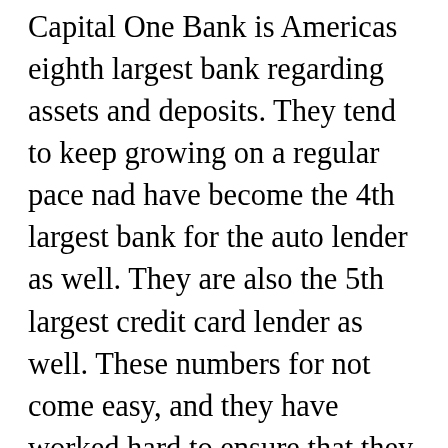Capital One Bank is Americas eighth largest bank regarding assets and deposits. They tend to keep growing on a regular pace nad have become the 4th largest bank for the auto lender as well. They are also the 5th largest credit card lender as well. These numbers for not come easy, and they have worked hard to ensure that they are on top of their game at all time. The company was founded Richard Fairbank and Nigel Morris in the year 1988 almost 29 years ago. The company is spread all across the coastal sides of the country and also is transmitted in the United Kingdom as well. They have almost 43000 additional employees who work for the company, and the company brings in a total annual revenue of